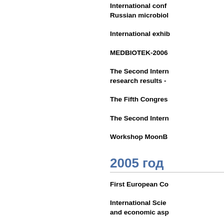International conf... Russian microbiol...
International exhib...
MEDBIOTEK-2006
The Second Intern... research results -...
The Fifth Congres...
The Second Intern...
Workshop MoonB...
2005 год
First European Co...
International Scien... and economic asp...